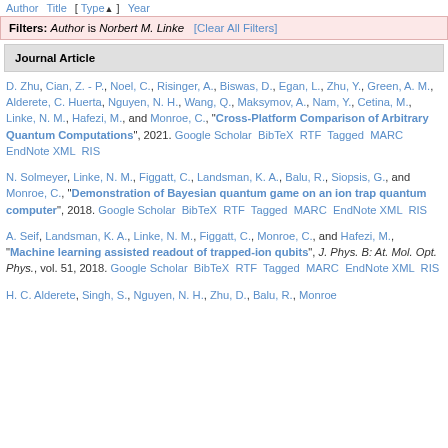Author Title [ Type▲ ] Year
Filters: Author is Norbert M. Linke  [Clear All Filters]
Journal Article
D. Zhu, Cian, Z. - P., Noel, C., Risinger, A., Biswas, D., Egan, L., Zhu, Y., Green, A. M., Alderete, C. Huerta, Nguyen, N. H., Wang, Q., Maksymov, A., Nam, Y., Cetina, M., Linke, N. M., Hafezi, M., and Monroe, C., "Cross-Platform Comparison of Arbitrary Quantum Computations", 2021. Google Scholar BibTeX RTF Tagged MARC EndNote XML RIS
N. Solmeyer, Linke, N. M., Figgatt, C., Landsman, K. A., Balu, R., Siopsis, G., and Monroe, C., "Demonstration of Bayesian quantum game on an ion trap quantum computer", 2018. Google Scholar BibTeX RTF Tagged MARC EndNote XML RIS
A. Seif, Landsman, K. A., Linke, N. M., Figgatt, C., Monroe, C., and Hafezi, M., "Machine learning assisted readout of trapped-ion qubits", J. Phys. B: At. Mol. Opt. Phys., vol. 51, 2018. Google Scholar BibTeX RTF Tagged MARC EndNote XML RIS
H. C. Alderete, Singh, S., Nguyen, N. H., Zhu, D., Balu, R., Monroe...